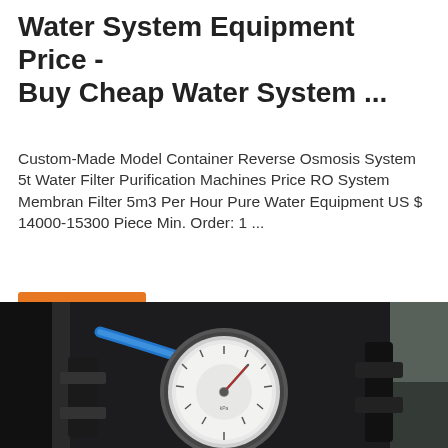Water System Equipment Price - Buy Cheap Water System ...
Custom-Made Model Container Reverse Osmosis System 5t Water Filter Purification Machines Price RO System Membran Filter 5m3 Per Hour Pure Water Equipment US $ 14000-15300 Piece Min. Order: 1 ...
Get Price
[Figure (photo): Close-up photo of water filtration/purification equipment showing a pressure gauge dial with a red needle indicator, black pipes and fittings, and a blue tube/hose, against a dark industrial background.]